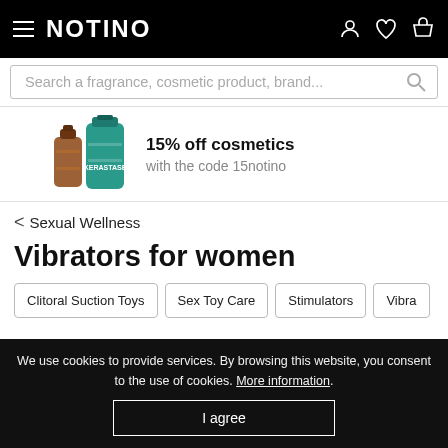NOTINO
Search a fragrance, cosmetic product, brand...
[Figure (photo): Promotional banner showing cosmetic product bottles (teal and brown), with text: 15% off cosmetics with the code 15notino]
< Sexual Wellness
Vibrators for women
Clitoral Suction Toys
Sex Toy Care
Stimulators
Vibra...
We use cookies to provide services. By browsing this website, you consent to the use of cookies. More information.
I agree